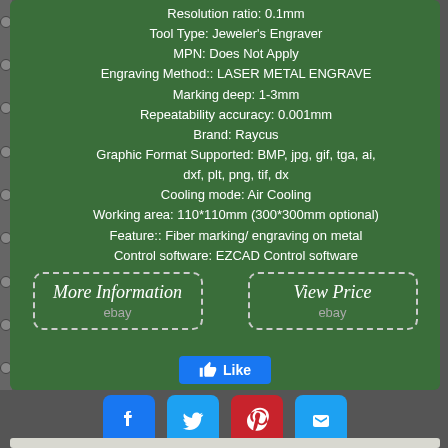Resolution ratio: 0.1mm
Tool Type: Jeweler's Engraver
MPN: Does Not Apply
Engraving Method:: LASER METAL ENGRAVE
Marking deep: 1-3mm
Repeatability accuracy: 0.001mm
Brand: Raycus
Graphic Format Supported: BMP, jpg, gif, tga, ai, dxf, plt, png, tif, dx
Cooling mode: Air Cooling
Working area: 110*110mm (300*300mm optional)
Feature:: Fiber marking/ engraving on metal
Control software: EZCAD Control software
[Figure (other): More Information eBay button with dashed border]
[Figure (other): View Price eBay button with dashed border]
[Figure (other): Facebook Like button]
[Figure (other): Social media icons: Facebook, Twitter, Pinterest, Email]